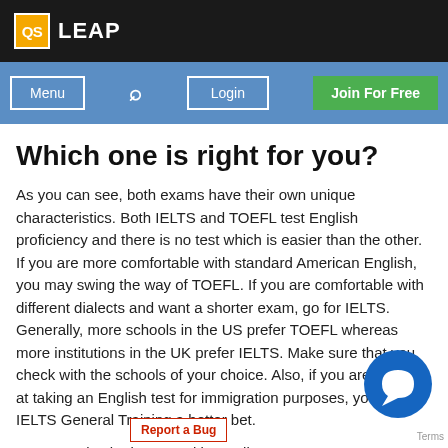QS LEAP
Which one is right for you?
As you can see, both exams have their own unique characteristics. Both IELTS and TOEFL test English proficiency and there is no test which is easier than the other. If you are more comfortable with standard American English, you may swing the way of TOEFL. If you are comfortable with different dialects and want a shorter exam, go for IELTS. Generally, more schools in the US prefer TOEFL whereas more institutions in the UK prefer IELTS. Make sure that you check with the schools of your choice. Also, if you are looking at taking an English test for immigration purposes, you find the IELTS General Training a better bet.
You may also be interested in reading: